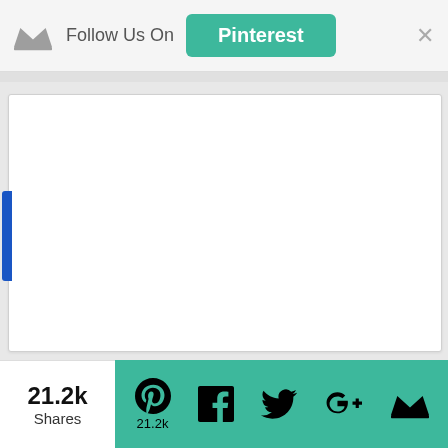Follow Us On Pinterest
[Figure (screenshot): White blank content card area with a blue tab on the left side]
21.2k Shares
[Figure (infographic): Social share bar with Pinterest (21.2k), Facebook, Twitter, Google+, and crown icons on teal background]